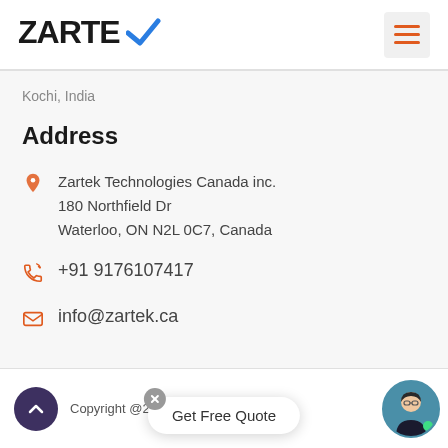ZARTEK
Kochi, India
Address
Zartek Technologies Canada inc.
180 Northfield Dr
Waterloo, ON N2L 0C7, Canada
+91 9176107417
info@zartek.ca
Copyright @2022 Zartek